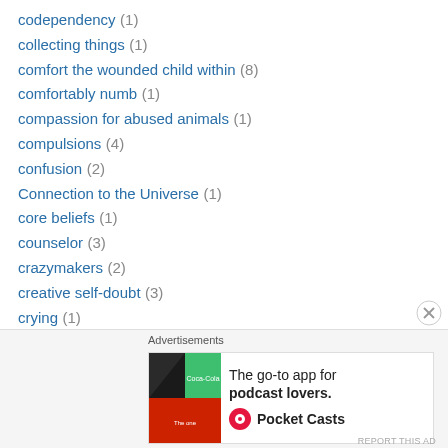codependency (1)
collecting things (1)
comfort the wounded child within (8)
comfortably numb (1)
compassion for abused animals (1)
compulsions (4)
confusion (2)
Connection to the Universe (1)
core beliefs (1)
counselor (3)
crazymakers (2)
creative self-doubt (3)
crying (1)
Cutting Loose–An Adult's Guide To Coming To Terms With Your Parents (1)
daily chores (1)
[Figure (infographic): Advertisement banner for Pocket Casts podcast app with text 'The go-to app for podcast lovers.']